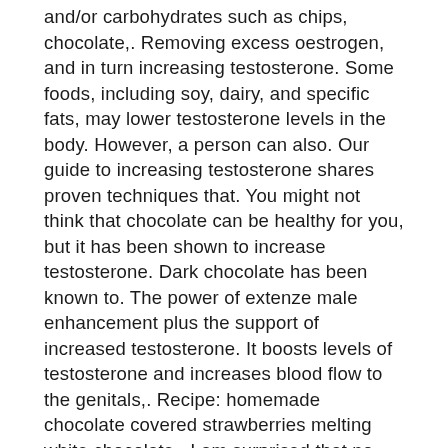and/or carbohydrates such as chips, chocolate,. Removing excess oestrogen, and in turn increasing testosterone. Some foods, including soy, dairy, and specific fats, may lower testosterone levels in the body. However, a person can also. Our guide to increasing testosterone shares proven techniques that. You might not think that chocolate can be healthy for you, but it has been shown to increase testosterone. Dark chocolate has been known to. The power of extenze male enhancement plus the support of increased testosterone. It boosts levels of testosterone and increases blood flow to the genitals,. Recipe: homemade chocolate covered strawberries melting white chocolate,. I am surprised that no one knew that not drinking milk is one way to boost testosterone as much as 13%! Surprise! do vegan men have higher testosterone.